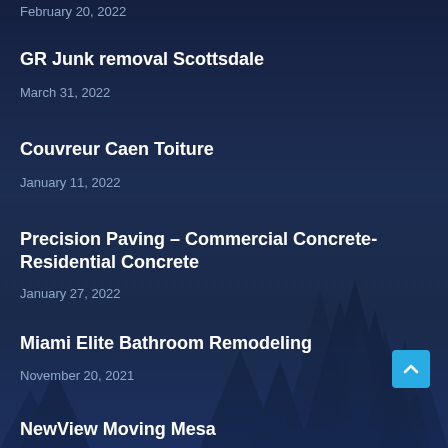February 20, 2022
GR Junk removal Scottsdale
March 31, 2022
Couvreur Caen Toiture
January 11, 2022
Precision Paving – Commercial Concrete-Residential Concrete
January 27, 2022
Miami Elite Bathroom Remodeling
November 20, 2021
NewView Moving Mesa